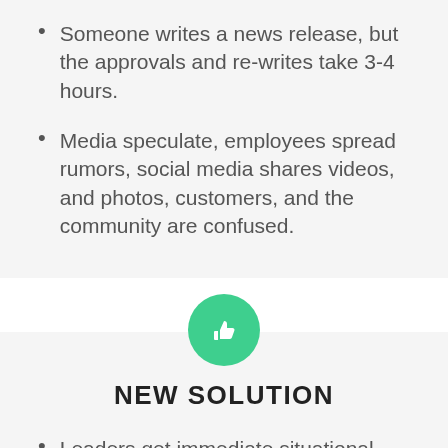Someone writes a news release, but the approvals and re-writes take 3-4 hours.
Media speculate, employees spread rumors, social media shares videos, and photos, customers, and the community are confused.
[Figure (illustration): Green circle with a white thumbs-up icon in the center]
NEW SOLUTION
Leaders get immediate situational awareness.
A perfect statement writes itself in just